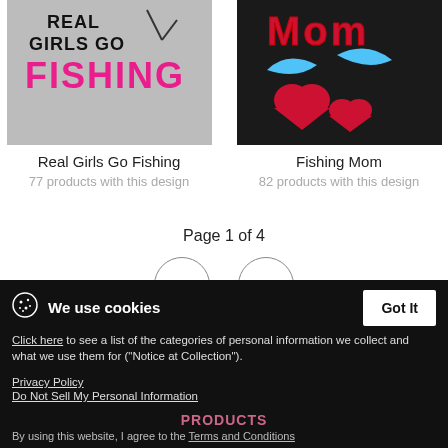[Figure (photo): Real Girls Go Fishing t-shirt design with silhouette and pink text]
Real Girls Go Fishing
77 products with this design
[Figure (photo): Fishing Mom t-shirt design on dark background with hearts and fish]
Fishing Mom
82 products with this design
Page 1 of 4
Click here to see a list of the categories of personal information we collect and what we use them for ("Notice at Collection").
We use cookies
Got It
Privacy Policy
Do Not Sell My Personal Information
PRODUCTS
By using this website, I agree to the Terms and Conditions